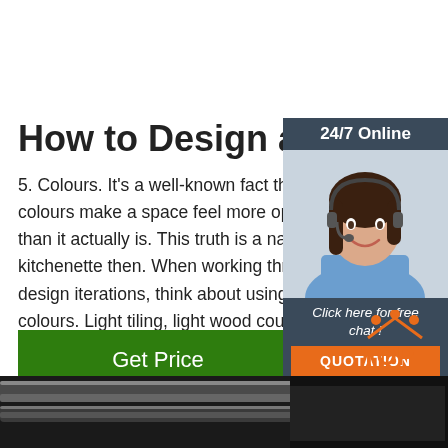How to Design a Kitchen
5. Colours. It's a well-known fact that light colours make a space feel more open, a than it actually is. This truth is a natural f kitchenette then. When working through design iterations, think about using light colours. Light tiling, light wood counterto cabinets and appliances.
[Figure (other): Sidebar widget with woman wearing headset and '24/7 Online' header, plus 'Click here for free chat!' text and orange QUOTATION button]
[Figure (other): Green 'Get Price' button]
[Figure (logo): Orange 'TOP' logo with house/dots icon]
[Figure (photo): Dark photo of metal rails or pipes at the bottom of the page]